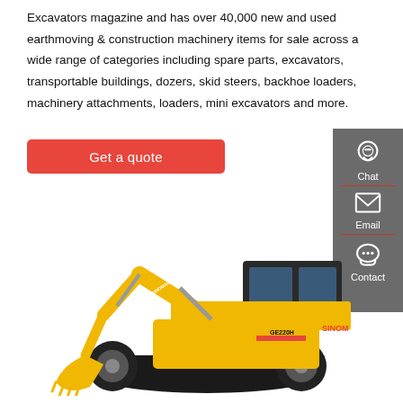Excavators magazine and has over 40,000 new and used earthmoving & construction machinery items for sale across a wide range of categories including spare parts, excavators, transportable buildings, dozers, skid steers, backhoe loaders, machinery attachments, loaders, mini excavators and more.
Get a quote
[Figure (other): Grey sidebar panel with Chat (headset icon), Email (envelope icon), and Contact (speech bubble icon) buttons, separated by red dividers]
[Figure (photo): Yellow SINOMACH GE220H crawler excavator on white background]